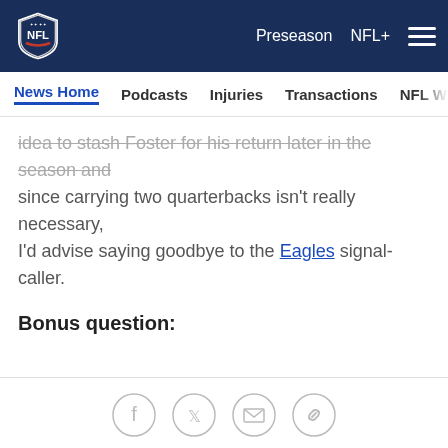NFL Navigation bar with logo, Preseason, NFL+, hamburger menu
News Home | Podcasts | Injuries | Transactions | NFL Writers | Se...
idea to stash Foster for his return later in the season and since carrying two quarterbacks isn't really necessary, I'd advise saying goodbye to the Eagles signal-caller.
Bonus question:
Social share icons: Facebook, Twitter, Email, Link